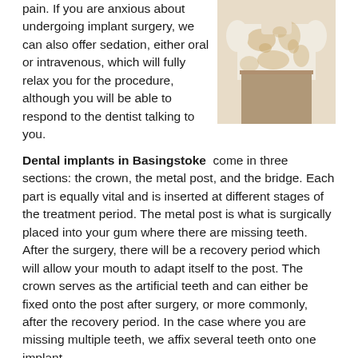pain. If you are anxious about undergoing implant surgery, we can also offer sedation, either oral or intravenous, which will fully relax you for the procedure, although you will be able to respond to the dentist talking to you.
[Figure (photo): Person wearing a floral patterned top and beige pants, shown from shoulders down]
Dental implants in Basingstoke come in three sections: the crown, the metal post, and the bridge. Each part is equally vital and is inserted at different stages of the treatment period. The metal post is what is surgically placed into your gum where there are missing teeth. After the surgery, there will be a recovery period which will allow your mouth to adapt itself to the post. The crown serves as the artificial teeth and can either be fixed onto the post after surgery, or more commonly, after the recovery period. In the case where you are missing multiple teeth, we affix several teeth onto one implant.
Why are dental implants popular
Dental implants are known to be more secure than dentures and bridges, and can offer you a more functional set of artificial teeth